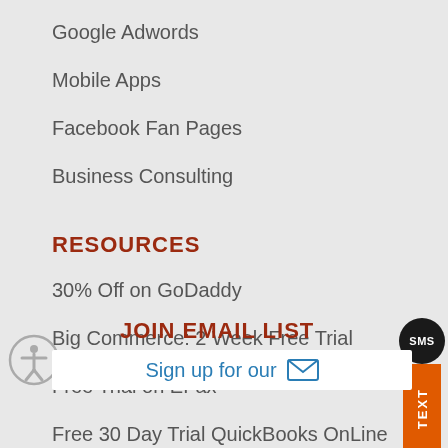Google Adwords
Mobile Apps
Facebook Fan Pages
Business Consulting
RESOURCES
30% Off on GoDaddy
Big Commerce: 2 Week Free Trial
Free Trial on EFax
Free 30 Day Trial QuickBooks OnLine
Albany DJ Service
JOIN EMAIL LIST
Sign up for our